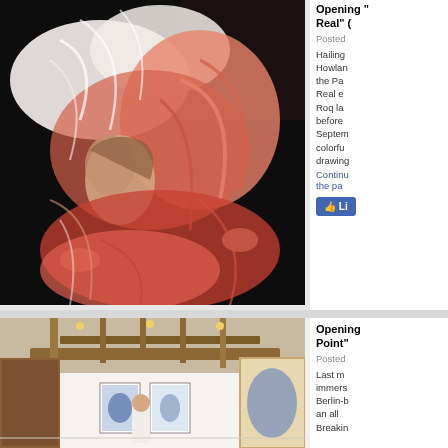[Figure (photo): A dramatic painting or artwork showing a woman with flamingo birds with pink and white feathers surrounding her against a dark background]
Opening "Real" (
Posted
Hailing Howlan the Pa Real e Roq la before Septem colorfu drawing Continu the pa
[Figure (photo): Interior of an art gallery with wooden ceiling beams, white walls, multiple framed artworks hung on walls, and a man standing in the center of the gallery]
Opening Point"
Posted
Last m immers Berlin-b an all Breakin